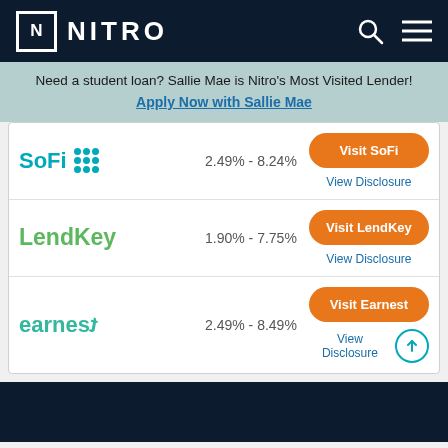NITRO
Need a student loan? Sallie Mae is Nitro's Most Visited Lender! Apply Now with Sallie Mae
| Lender | Rate | Action |
| --- | --- | --- |
| SoFi | 2.49% - 8.24% | Visit SoFi / View Disclosure |
| LendKey | 1.90% - 7.75% | Visit LendKey / View Disclosure |
| earnest | 2.49% - 8.49% | Visit Earnest / View Disclosure |